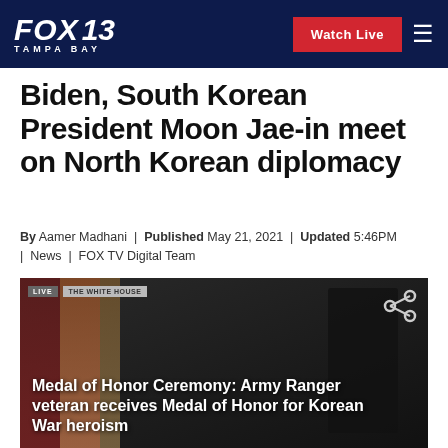FOX 13 TAMPA BAY
Biden, South Korean President Moon Jae-in meet on North Korean diplomacy
By Aamer Madhani | Published May 21, 2021 | Updated 5:46PM | News | FOX TV Digital Team
[Figure (screenshot): Social sharing icons for Facebook, Twitter, Print, and Email]
[Figure (screenshot): Video thumbnail showing Medal of Honor Ceremony: Army Ranger veteran receives Medal of Honor for Korean War heroism. Shows LIVE and THE WHITE HOUSE labels at top.]